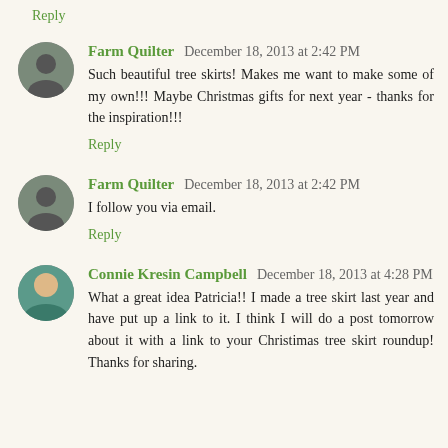Reply
Farm Quilter December 18, 2013 at 2:42 PM
Such beautiful tree skirts! Makes me want to make some of my own!!! Maybe Christmas gifts for next year - thanks for the inspiration!!!
Reply
Farm Quilter December 18, 2013 at 2:42 PM
I follow you via email.
Reply
Connie Kresin Campbell December 18, 2013 at 4:28 PM
What a great idea Patricia!! I made a tree skirt last year and have put up a link to it. I think I will do a post tomorrow about it with a link to your Christmas tree skirt roundup! Thanks for sharing.